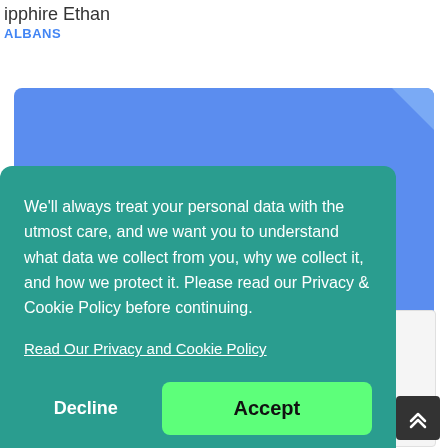ipphire Ethan
ALBANS
[Figure (screenshot): Blue card with heading 'Have Questions About Our Services?' partially visible behind a privacy/cookie consent modal overlay]
Have Questions About Our Services?
We'll always treat your personal data with the utmost care, and we want you to understand what data we collect from you, why we collect it, and how we protect it. Please read our Privacy & Cookie Policy before continuing.
Read Our Privacy and Cookie Policy
Decline
Accept